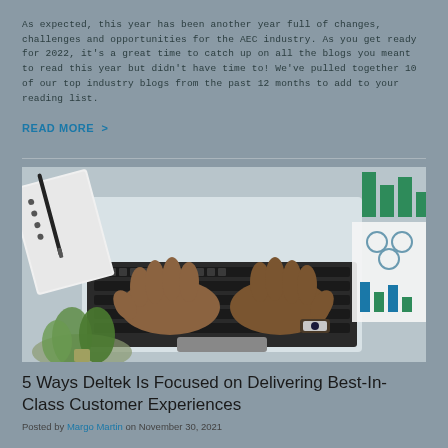As expected, this year has been another year full of changes, challenges and opportunities for the AEC industry. As you get ready for 2022, it's a great time to catch up on all the blogs you meant to read this year but didn't have time to! We've pulled together 10 of our top industry blogs from the past 12 months to add to your reading list.
READ MORE >
[Figure (photo): Overhead view of a person's hands typing on a laptop keyboard. A spiral notebook with a pen is on the left, a small green plant in the lower left corner, and business charts/reports visible on the right side.]
5 Ways Deltek Is Focused on Delivering Best-In-Class Customer Experiences
Posted by Margo Martin on November 30, 2021